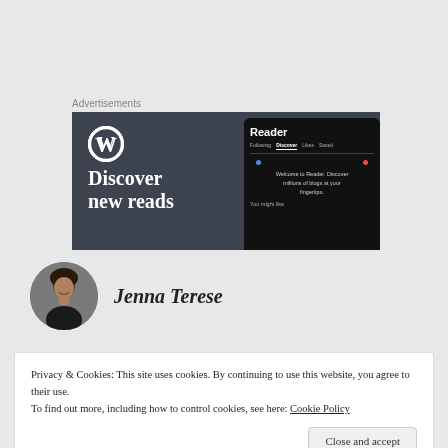Advertisements
[Figure (screenshot): WordPress advertisement banner showing 'Discover new reads' text with WordPress logo on dark background, and a phone mockup showing the Reader interface with tabs: Following, Discover, Likes, Saved, and text 'Welcome to Reader. Discover millions of blogs at your fingertips.' and 'You might like']
Jenna Terese
Privacy & Cookies: This site uses cookies. By continuing to use this website, you agree to their use.
To find out more, including how to control cookies, see here: Cookie Policy
Close and accept